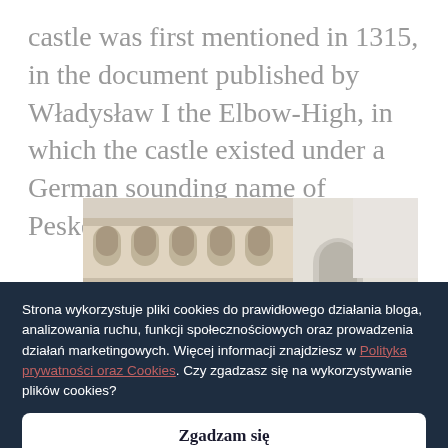castle was first mentioned in 1315, in the document published by Władysław I the Elbow-High, in which the castle existed under a German sounding name of Peskenstein.
[Figure (photo): Photograph of a castle courtyard with Renaissance arcaded loggias, arched colonnades on upper floors, white/beige stone architecture.]
Strona wykorzystuje pliki cookies do prawidłowego działania bloga, analizowania ruchu, funkcji społecznościowych oraz prowadzenia działań marketingowych. Więcej informacji znajdziesz w Polityka prywatności oraz Cookies. Czy zgadzasz się na wykorzystywanie plików cookies?
Zgadzam się
Wyłącz ciasteczka